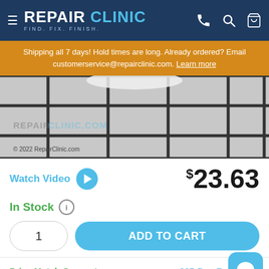REPAIR CLINIC — FIND. FIX. FINISH.
Shipping all 7 days! Hold times are long. Already ordered? Email customerservice@repairclinic.com. Learn more
[Figure (photo): Product photo showing appliance part against gray tile grid background with RepairClinic.com watermark. © 2022 RepairClinic.com]
Watch Video  $23.63
In Stock
1  ADD TO CART
Price Match Guarantee   365-Day Return Po…